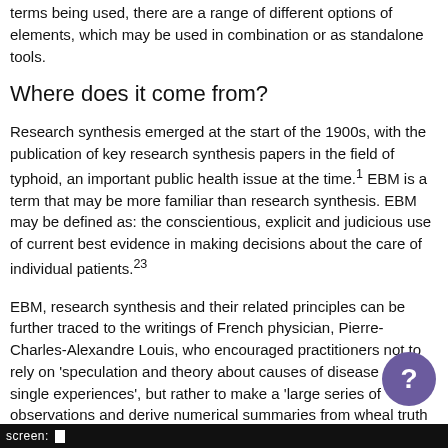terms being used, there are a range of different options of elements, which may be used in combination or as standalone tools.
Where does it come from?
Research synthesis emerged at the start of the 1900s, with the publication of key research synthesis papers in the field of typhoid, an important public health issue at the time.1 EBM is a term that may be more familiar than research synthesis. EBM may be defined as: the conscientious, explicit and judicious use of current best evidence in making decisions about the care of individual patients.23
EBM, research synthesis and their related principles can be further traced to the writings of French physician, Pierre-Charles-Alexandre Louis, who encouraged practitioners not to rely on 'speculation and theory about causes of disease nor... single experiences', but rather to make a 'large series of observations and derive numerical summaries from wh real truth about the actual treatment of patients will emerg real truth is derived, in part at least, from our ability to e research synthesis that allow us to build the top of the